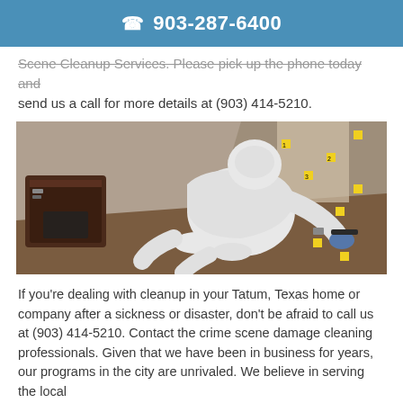903-287-6400
Scene Cleanup Services. Please pick up the phone today and send us a call for more details at (903) 414-5210.
[Figure (photo): A person in a white hazmat/Tyvek suit kneeling on the floor of a room, appearing to collect evidence or perform crime scene cleanup. Yellow evidence markers are visible on the wall and floor. A dark carrying case with equipment is open nearby.]
If you're dealing with cleanup in your Tatum, Texas home or company after a sickness or disaster, don't be afraid to call us at (903) 414-5210. Contact the crime scene damage cleaning professionals. Given that we have been in business for years, our programs in the city are unrivaled. We believe in serving the local